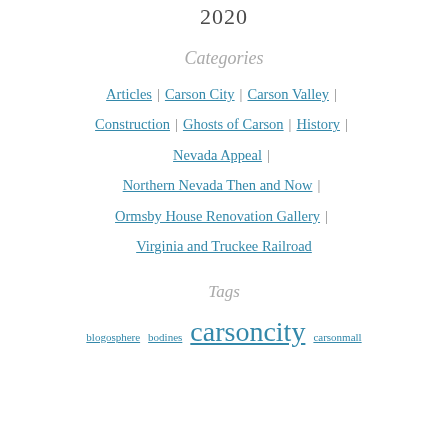2020
Categories
Articles | Carson City | Carson Valley | Construction | Ghosts of Carson | History | Nevada Appeal | Northern Nevada Then and Now | Ormsby House Renovation Gallery | Virginia and Truckee Railroad
Tags
blogosphere bodines carsoncity carsonmall